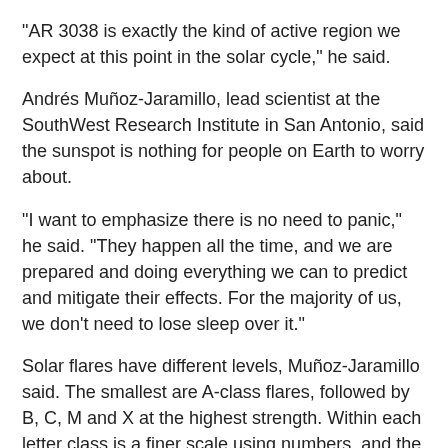"AR 3038 is exactly the kind of active region we expect at this point in the solar cycle," he said.
Andrés Muñoz-Jaramillo, lead scientist at the SouthWest Research Institute in San Antonio, said the sunspot is nothing for people on Earth to worry about.
"I want to emphasize there is no need to panic," he said. "They happen all the time, and we are prepared and doing everything we can to predict and mitigate their effects. For the majority of us, we don't need to lose sleep over it."
Solar flares have different levels, Muñoz-Jaramillo said. The smallest are A-class flares, followed by B, C, M and X at the highest strength. Within each letter class is a finer scale using numbers, and the higher numbers denote more intensity.